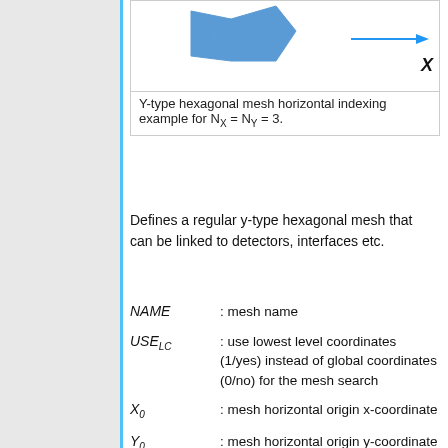[Figure (illustration): Y-type hexagonal mesh diagram showing a blue hexagon shape and an arrow pointing right labeled X, representing horizontal indexing example]
Y-type hexagonal mesh horizontal indexing example for N_X = N_Y = 3.
Defines a regular y-type hexagonal mesh that can be linked to detectors, interfaces etc.
NAME : mesh name
USE_LC : use lowest level coordinates (1/yes) instead of global coordinates (0/no) for the mesh search
X_0 : mesh horizontal origin x-coordinate
Y_0 : mesh horizontal origin y-coordinate
PITCH : mesh horizontal pitch (equal to cell flat-to-flat width)